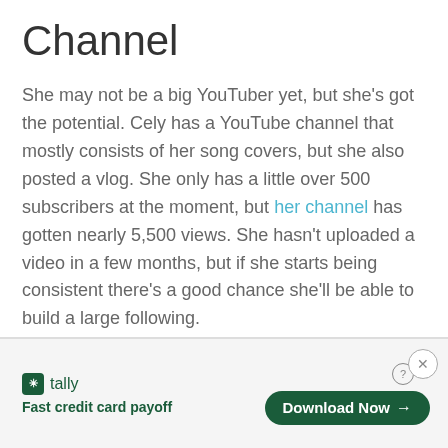Channel
She may not be a big YouTuber yet, but she's got the potential. Cely has a YouTube channel that mostly consists of her song covers, but she also posted a vlog. She only has a little over 500 subscribers at the moment, but her channel has gotten nearly 5,500 views. She hasn't uploaded a video in a few months, but if she starts being consistent there's a good chance she'll be able to build a large following.
[Figure (other): Advertisement banner for Tally app - Fast credit card payoff, with Download Now button]